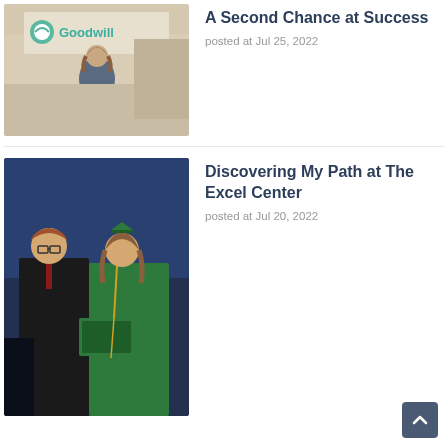[Figure (photo): Woman standing in front of a Goodwill store sign]
A Second Chance at Success
posted at Jul 25, 2022
[Figure (photo): Two people in graduation gowns, one in green cap and gown holding a diploma, other in black gown]
Discovering My Path at The Excel Center
posted at Jul 20, 2022